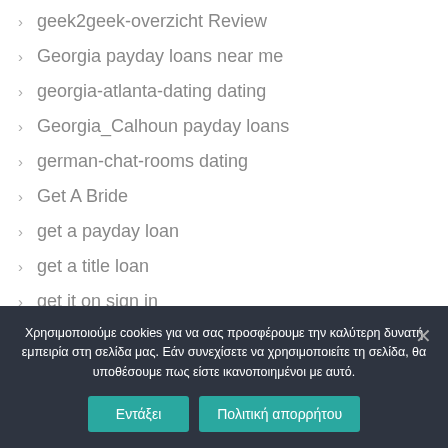geek2geek-overzicht Review
Georgia payday loans near me
georgia-atlanta-dating dating
Georgia_Calhoun payday loans
german-chat-rooms dating
Get A Bride
get a payday loan
get a title loan
get it on sign in
Χρησιμοποιούμε cookies για να σας προσφέρουμε την καλύτερη δυνατή εμπειρία στη σελίδα μας. Εάν συνεχίσετε να χρησιμοποιείτε τη σελίδα, θα υποθέσουμε πως είστε ικανοποιημένοι με αυτό.